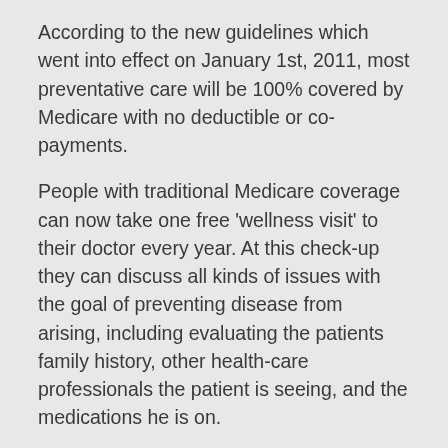According to the new guidelines which went into effect on January 1st, 2011, most preventative care will be 100% covered by Medicare with no deductible or co-payments.
People with traditional Medicare coverage can now take one free 'wellness visit' to their doctor every year. At this check-up they can discuss all kinds of issues with the goal of preventing disease from arising, including evaluating the patients family history, other health-care professionals the patient is seeing, and the medications he is on.
The doctor will also make sure the patient is on schedule with cancer screenings, vaccinations and other preventative tests. And not only is this visit free, but the screenings and tests, such as a mammogram or colorectal cancer screening are completely covered